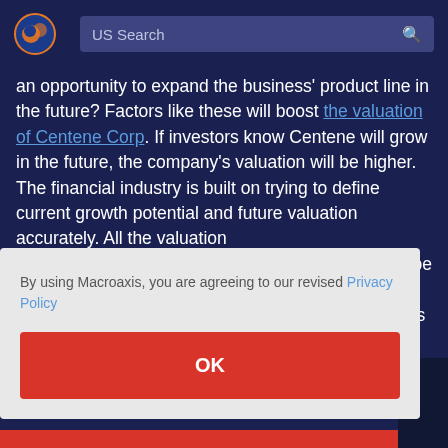[Figure (logo): Macroaxis orange and blue globe logo]
US Search
an opportunity to expand the business' product line in the future? Factors like these will boost the valuation of Centene Corp. If investors know Centene will grow in the future, the company's valuation will be higher. The financial industry is built on trying to define current growth potential and future valuation accurately. All the valuation
By using Macroaxis, you are agreeing to our revised Privacy Policy
OK